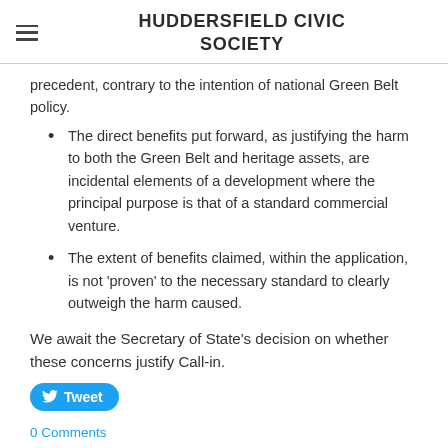HUDDERSFIELD CIVIC SOCIETY
precedent, contrary to the intention of national Green Belt policy.
The direct benefits put forward, as justifying the harm to both the Green Belt and heritage assets, are incidental elements of a development where the principal purpose is that of a standard commercial venture.
The extent of benefits claimed, within the application, is not ‘proven’ to the necessary standard to clearly outweigh the harm caused.
We await the Secretary of State’s decision on whether these concerns justify Call-in.
Tweet
0 Comments